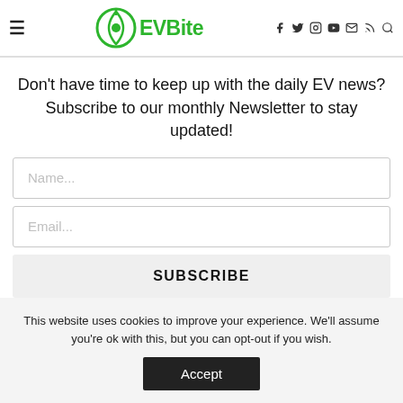EVBite — navigation header with logo and social icons
Don't have time to keep up with the daily EV news? Subscribe to our monthly Newsletter to stay updated!
Name...
Email...
SUBSCRIBE
This website uses cookies to improve your experience. We'll assume you're ok with this, but you can opt-out if you wish.
Accept